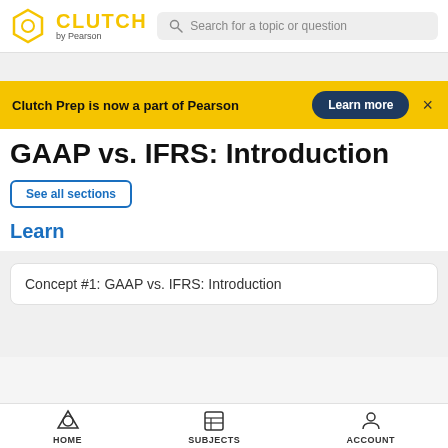[Figure (logo): Clutch by Pearson logo with hexagon icon and yellow CLUTCH text]
Search for a topic or question
Clutch Prep is now a part of Pearson  Learn more  ×
GAAP vs. IFRS: Introduction
See all sections
Learn
Concept #1: GAAP vs. IFRS: Introduction
HOME   SUBJECTS   ACCOUNT